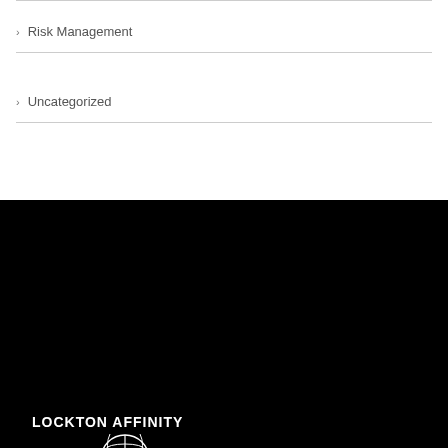Risk Management
Uncategorized
[Figure (logo): Lockton Affinity logo: globe icon above LOCKTON text with registered trademark, AFFINITY text below, white on black background]
LOCKTON AFFINITY